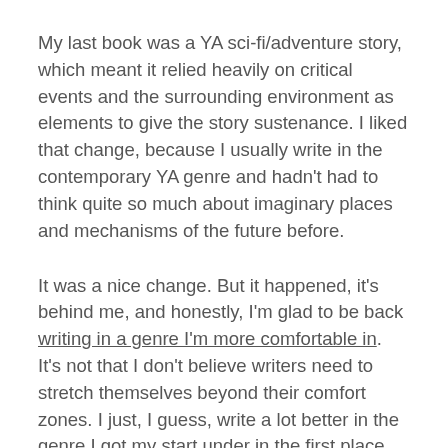My last book was a YA sci-fi/adventure story, which meant it relied heavily on critical events and the surrounding environment as elements to give the story sustenance. I liked that change, because I usually write in the contemporary YA genre and hadn't had to think quite so much about imaginary places and mechanisms of the future before.
It was a nice change. But it happened, it's behind me, and honestly, I'm glad to be back writing in a genre I'm more comfortable in. It's not that I don't believe writers need to stretch themselves beyond their comfort zones. I just, I guess, write a lot better in the genre I got my start under in the first place.
For some reason, though, I'm having quite a time adjusting to writing such a character-based story again